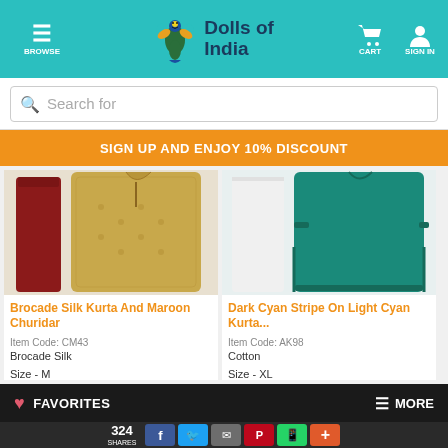BROWSE | Dolls of India | CART | SIGN IN
Search for
SIGN UP AND ENJOY 10% DISCOUNT
[Figure (photo): Brocade Silk Kurta with golden pattern and Maroon Churidar]
Brocade Silk Kurta And Maroon Churidar
Item Code: CM43
Brocade Silk
Size - M
[Figure (photo): Dark Cyan and Light Cyan Kurta]
Dark Cyan Stripe On Light Cyan Kurta...
Item Code: AK98
Cotton
Size - XL
FAVORITES | MORE
324 SHARES